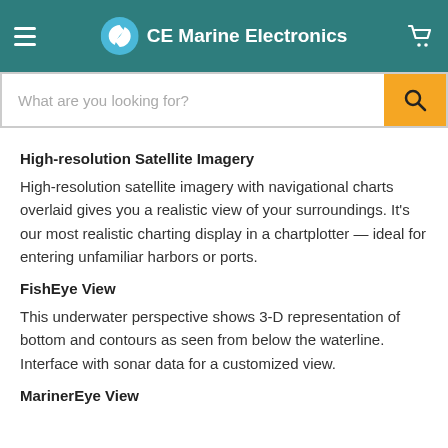CE Marine Electronics
High-resolution Satellite Imagery
High-resolution satellite imagery with navigational charts overlaid gives you a realistic view of your surroundings. It's our most realistic charting display in a chartplotter — ideal for entering unfamiliar harbors or ports.
FishEye View
This underwater perspective shows 3-D representation of bottom and contours as seen from below the waterline. Interface with sonar data for a customized view.
MarinerEye View